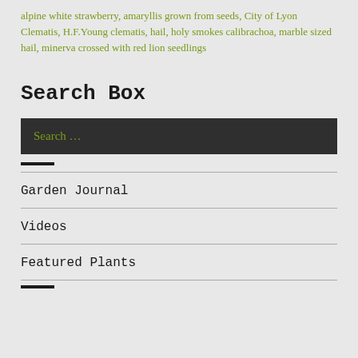alpine white strawberry, amaryllis grown from seeds, City of Lyon Clematis, H.F.Young clematis, hail, holy smokes calibrachoa, marble sized hail, minerva crossed with red lion seedlings
Search Box
Search …
Garden Journal
Videos
Featured Plants